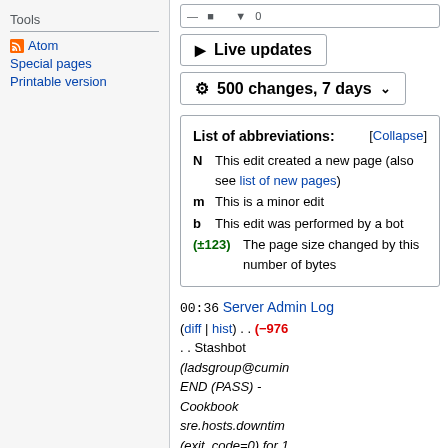Tools
Atom
Special pages
Printable version
▶ Live updates
⚙ 500 changes, 7 days ∨
| N | This edit created a new page (also see list of new pages) |
| m | This is a minor edit |
| b | This edit was performed by a bot |
| (±123) | The page size changed by this number of bytes |
00:36 Server Admin Log (diff | hist) . . (−976) . . Stashbot (ladsgroup@cumin END (PASS) - Cookbook sre.hosts.downtime (exit_code=0) for 1 0:00:00 on